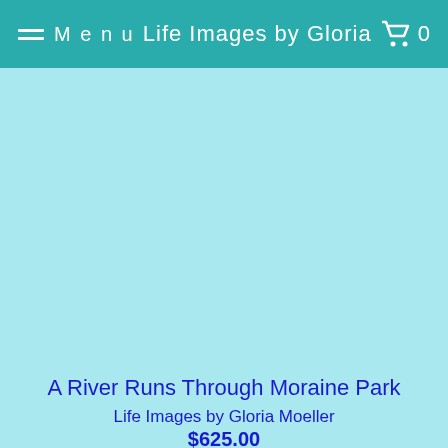Menu  Life Images by Gloria  0
[Figure (photo): Light teal/turquoise placeholder image area for product photo]
A River Runs Through Moraine Park
Life Images by Gloria Moeller
$625.00